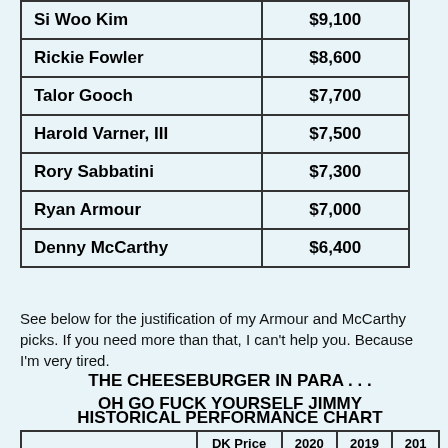|  |  |
| --- | --- |
| Si Woo Kim | $9,100 |
| Rickie Fowler | $8,600 |
| Talor Gooch | $7,700 |
| Harold Varner, III | $7,500 |
| Rory Sabbatini | $7,300 |
| Ryan Armour | $7,000 |
| Denny McCarthy | $6,400 |
See below for the justification of my Armour and McCarthy picks. If you need more than that, I can't help you. Because I'm very tired.
THE CHEESEBURGER IN PARA . . . OH GO FUCK YOURSELF JIMMY
HISTORICAL PERFORMANCE CHART
|  | DK Price | 2020 | 2019 | 201 |
| --- | --- | --- | --- | --- |